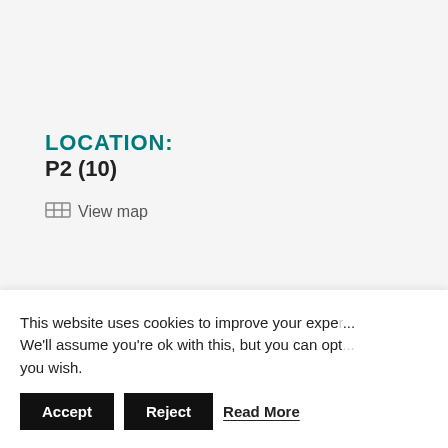LOCATION:
P2 (10)
View map
CONTACT INFORMATION:
861 882
This website uses cookies to improve your expe... We'll assume you're ok with this, but you can opt... you wish.
Accept
Reject
Read More